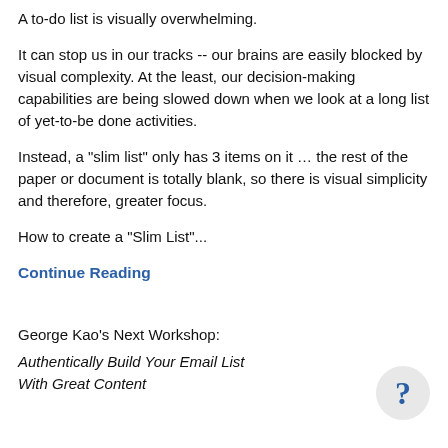A to-do list is visually overwhelming.
It can stop us in our tracks -- our brains are easily blocked by visual complexity. At the least, our decision-making capabilities are being slowed down when we look at a long list of yet-to-be done activities.
Instead, a "slim list" only has 3 items on it … the rest of the paper or document is totally blank, so there is visual simplicity and therefore, greater focus.
How to create a "Slim List"...
Continue Reading
George Kao's Next Workshop:
Authentically Build Your Email List
With Great Content